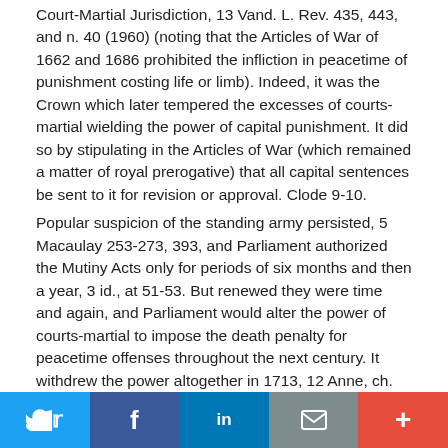Court-Martial Jurisdiction, 13 Vand. L. Rev. 435, 443, and n. 40 (1960) (noting that the Articles of War of 1662 and 1686 prohibited the infliction in peacetime of punishment costing life or limb). Indeed, it was the Crown which later tempered the excesses of courts-martial wielding the power of capital punishment. It did so by stipulating in the Articles of War (which remained a matter of royal prerogative) that all capital sentences be sent to it for revision or approval. Clode 9-10.
Popular suspicion of the standing army persisted, 5 Macaulay 253-273, 393, and Parliament authorized the Mutiny Acts only for periods of six months and then a year, 3 id., at 51-53. But renewed they were time and again, and Parliament would alter the power of courts-martial to impose the death penalty for peacetime offenses throughout the next century. It withdrew the power altogether in 1713, 12 Anne, ch. 13, Section(s) 1, only to regret the absence of the
[Figure (other): Social media sharing bar with Twitter, Facebook, LinkedIn, email, and more buttons]